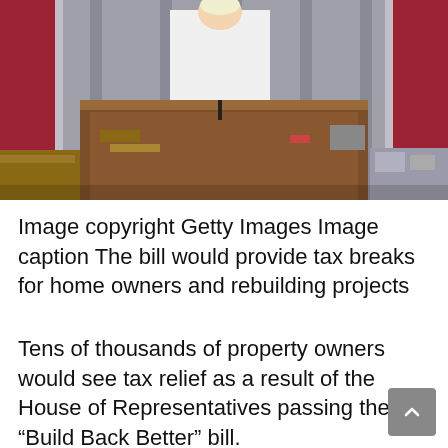[Figure (photo): A person in a white jacket standing at a wooden podium in what appears to be the U.S. House of Representatives chamber, with red and grey draped curtains in the background and various items on the desk.]
Image copyright Getty Images Image caption The bill would provide tax breaks for home owners and rebuilding projects
Tens of thousands of property owners would see tax relief as a result of the House of Representatives passing the “Build Back Better” bill.